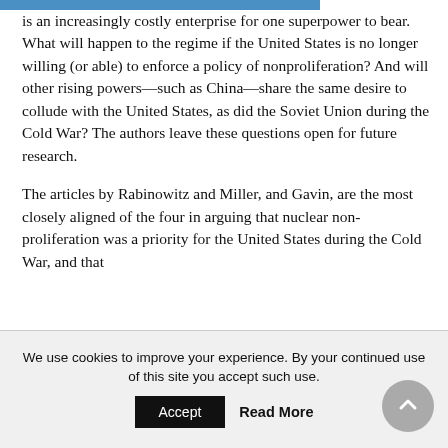is an increasingly costly enterprise for one superpower to bear. What will happen to the regime if the United States is no longer willing (or able) to enforce a policy of nonproliferation? And will other rising powers—such as China—share the same desire to collude with the United States, as did the Soviet Union during the Cold War? The authors leave these questions open for future research.
The articles by Rabinowitz and Miller, and Gavin, are the most closely aligned of the four in arguing that nuclear non-proliferation was a priority for the United States during the Cold War, and that
We use cookies to improve your experience. By your continued use of this site you accept such use.